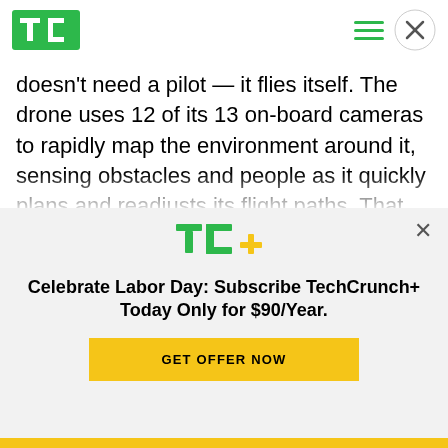TechCrunch
doesn't need a pilot — it flies itself. The drone uses 12 of its 13 on-board cameras to rapidly map the environment around it, sensing obstacles and people as it quickly plans and readjusts its flight paths. That means you can launch the thing and go for a walk. You can launch the thing and explore nature. You can launch the thing and go biking and the D1 will follow you with no operator input...
[Figure (logo): TC+ logo with green TC letters and yellow/green plus sign]
Celebrate Labor Day: Subscribe TechCrunch+ Today Only for $90/Year.
GET OFFER NOW